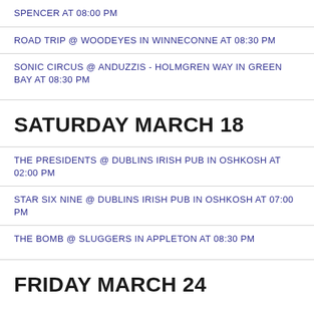SPENCER AT 08:00 PM
ROAD TRIP @ WOODEYES IN WINNECONNE AT 08:30 PM
SONIC CIRCUS @ ANDUZZIS - HOLMGREN WAY IN GREEN BAY AT 08:30 PM
SATURDAY MARCH 18
THE PRESIDENTS @ DUBLINS IRISH PUB IN OSHKOSH AT 02:00 PM
STAR SIX NINE @ DUBLINS IRISH PUB IN OSHKOSH AT 07:00 PM
THE BOMB @ SLUGGERS IN APPLETON AT 08:30 PM
FRIDAY MARCH 24